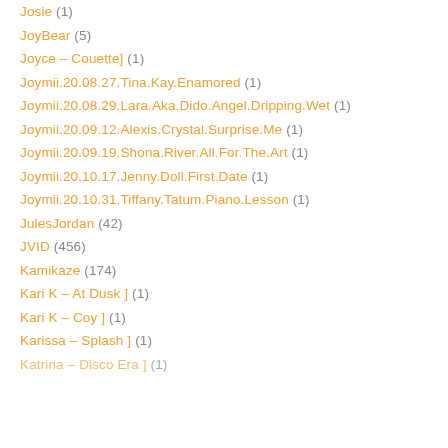Josie (1)
JoyBear (5)
Joyce – Couette] (1)
Joymii.20.08.27.Tina.Kay.Enamored (1)
Joymii.20.08.29.Lara.Aka.Dido.Angel.Dripping.Wet (1)
Joymii.20.09.12.Alexis.Crystal.Surprise.Me (1)
Joymii.20.09.19.Shona.River.All.For.The.Art (1)
Joymii.20.10.17.Jenny.Doll.First.Date (1)
Joymii.20.10.31.Tiffany.Tatum.Piano.Lesson (1)
JulesJordan (42)
JVID (456)
Kamikaze (174)
Kari K – At Dusk ] (1)
Kari K – Coy ] (1)
Karissa – Splash ] (1)
Katrina – Disco Era ] (1)